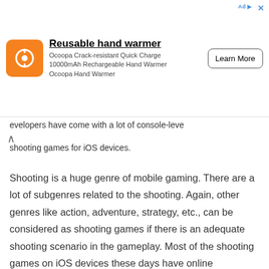[Figure (other): Advertisement banner for Ocoopa Reusable hand warmer product with orange logo, product description, and Learn More button]
evelopers have come with a lot of console-leve shooting games for iOS devices.
Shooting is a huge genre of mobile gaming. There are a lot of subgenres related to the shooting. Again, other genres like action, adventure, strategy, etc., can be considered as shooting games if there is an adequate shooting scenario in the gameplay. Most of the shooting games on iOS devices these days have online multiplayer gameplay. Since you can play real-time with real friends, it seems like you are in a real-world warzone.